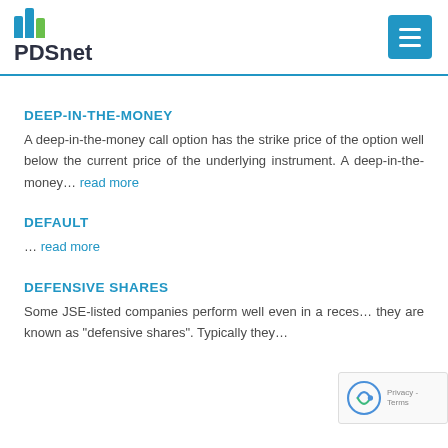PDSnet
DEEP-IN-THE-MONEY
A deep-in-the-money call option has the strike price of the option well below the current price of the underlying instrument. A deep-in-the-money... read more
DEFAULT
... read more
DEFENSIVE SHARES
Some JSE-listed companies perform well even in a recession; they are known as "defensive shares". Typically they...